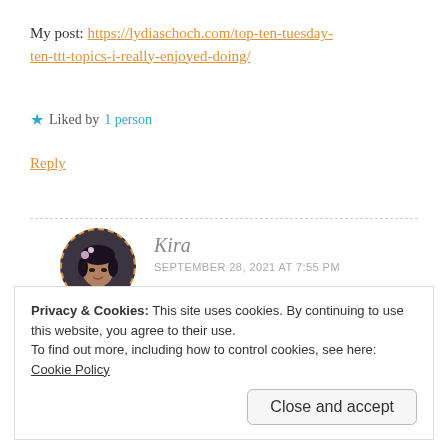My post: https://lydiaschoch.com/top-ten-tuesday-ten-ttt-topics-i-really-enjoyed-doing/
★ Liked by 1 person
Reply
[Figure (photo): Circular avatar photo of commenter Kira with dashed orange border]
Kira
SEPTEMBER 28, 2021 AT 7:55 PM
Privacy & Cookies: This site uses cookies. By continuing to use this website, you agree to their use.
To find out more, including how to control cookies, see here: Cookie Policy
Close and accept